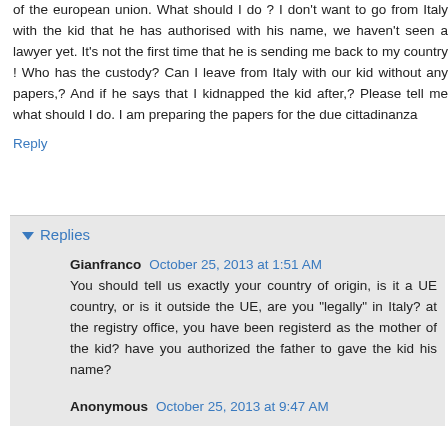of the european union. What should I do ? I don't want to go from Italy with the kid that he has authorised with his name, we haven't seen a lawyer yet. It's not the first time that he is sending me back to my country ! Who has the custody? Can I leave from Italy with our kid without any papers,? And if he says that I kidnapped the kid after,? Please tell me what should I do. I am preparing the papers for the due cittadinanza
Reply
Replies
Gianfranco  October 25, 2013 at 1:51 AM
You should tell us exactly your country of origin, is it a UE country, or is it outside the UE, are you "legally" in Italy? at the registry office, you have been registerd as the mother of the kid? have you authorized the father to gave the kid his name?
Anonymous  October 25, 2013 at 9:47 AM